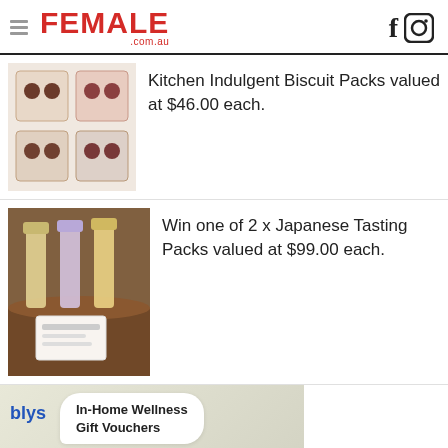FEMALE .com.au
Kitchen Indulgent Biscuit Packs valued at $46.00 each.
[Figure (photo): Biscuit packs product image showing chocolate biscuit packaging arranged in a grid]
Win one of 2 x Japanese Tasting Packs valued at $99.00 each.
[Figure (photo): Japanese tasting pack with whisky/sake bottles on a barrel with gift card]
[Figure (photo): Blys In-Home Wellness Gift Vouchers advertisement showing a woman receiving a massage]